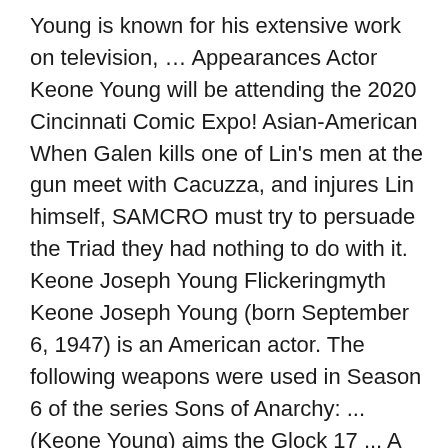Young is known for his extensive work on television, … Appearances Actor Keone Young will be attending the 2020 Cincinnati Comic Expo! Asian-American When Galen kills one of Lin's men at the gun meet with Cacuzza, and injures Lin himself, SAMCRO must try to persuade the Triad they had nothing to do with it. Keone Joseph Young Flickeringmyth Keone Joseph Young (born September 6, 1947) is an American actor. The following weapons were used in Season 6 of the series Sons of Anarchy: ... (Keone Young) aims the Glock 17 ... A Interdynamic KG-9 is carried and fired by a young boy into his school in "Straw" (S6E01). Sons of Anarchy is a FANDOM TV Community. Black Keone Young. It follows the lives of a close-knit outlaw motorcycle club operating in Charming, a … Keone Joseph Young (born September 6, 1947) is an American character actor. Take your favorite fandoms with you and never miss a beat. "Huang Wu" Bohai Lin (Chinese: 林博海) was the leader of the Lin Triad and the uncle of Henry Lin on the FX original series Sons of